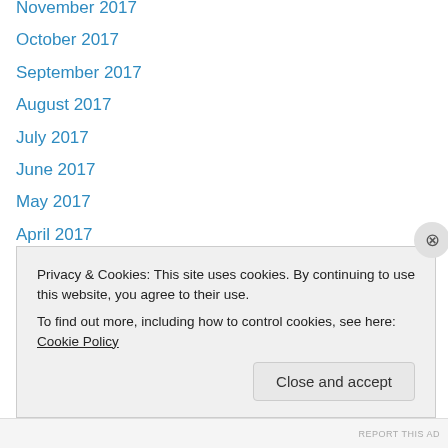November 2017
October 2017
September 2017
August 2017
July 2017
June 2017
May 2017
April 2017
March 2017
February 2017
January 2017
December 2016
November 2016
October 2016
Privacy & Cookies: This site uses cookies. By continuing to use this website, you agree to their use. To find out more, including how to control cookies, see here: Cookie Policy
Close and accept